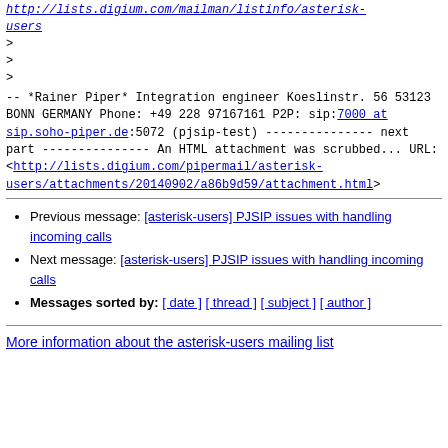http://lists.digium.com/mailman/listinfo/asterisk-users (link, italic)
>
>
>
--
*Rainer Piper*
Integration engineer
Koeslinstr. 56
53123 BONN
GERMANY
Phone: +49 228 97167161
P2P: sip:7000 at sip.soho-piper.de:5072 (pjsip-test)
--------------- next part ---------------
An HTML attachment was scrubbed...
URL: <http://lists.digium.com/pipermail/asterisk-users/attachments/20140902/a86b9d59/attachment.html>
Previous message: [asterisk-users] PJSIP issues with handling incoming calls
Next message: [asterisk-users] PJSIP issues with handling incoming calls
Messages sorted by: [ date ] [ thread ] [ subject ] [ author ]
More information about the asterisk-users mailing list